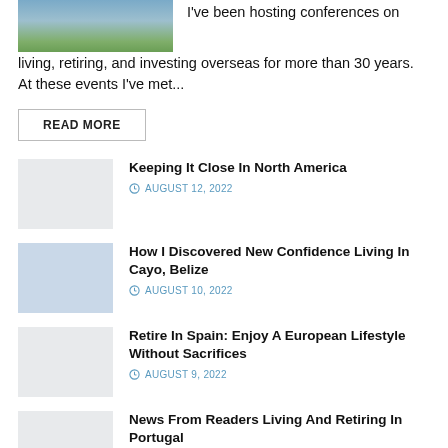[Figure (photo): Partial image showing outdoor scene with pool/water and buildings, cropped at top]
I've been hosting conferences on living, retiring, and investing overseas for more than 30 years. At these events I've met...
READ MORE
[Figure (photo): Small thumbnail image placeholder, light gray]
Keeping It Close In North America
AUGUST 12, 2022
[Figure (photo): Small thumbnail image placeholder, blue-gray]
How I Discovered New Confidence Living In Cayo, Belize
AUGUST 10, 2022
[Figure (photo): Small thumbnail image placeholder, light gray]
Retire In Spain: Enjoy A European Lifestyle Without Sacrifices
AUGUST 9, 2022
[Figure (photo): Small thumbnail image placeholder, light gray]
News From Readers Living And Retiring In Portugal